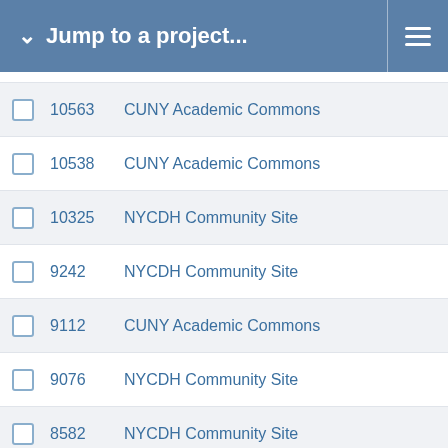Jump to a project...
10563  CUNY Academic Commons
10538  CUNY Academic Commons
10325  NYCDH Community Site
9242   NYCDH Community Site
9112   CUNY Academic Commons
9076   NYCDH Community Site
8582   NYCDH Community Site
8397   NYCDH Community Site